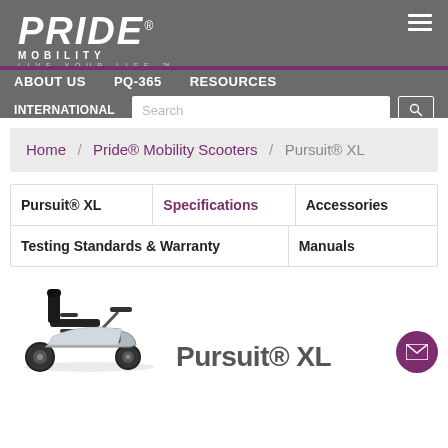PRIDE MOBILITY — Navigation: ABOUT US / PQ-365 / RESOURCES / INTERNATIONAL / Search
Home / Pride® Mobility Scooters / Pursuit® XL
Pursuit® XL
Specifications
Accessories
Testing Standards & Warranty
Manuals
[Figure (photo): Pride Mobility Pursuit XL scooter, black, three-wheel model with seat and basket]
Pursuit® XL